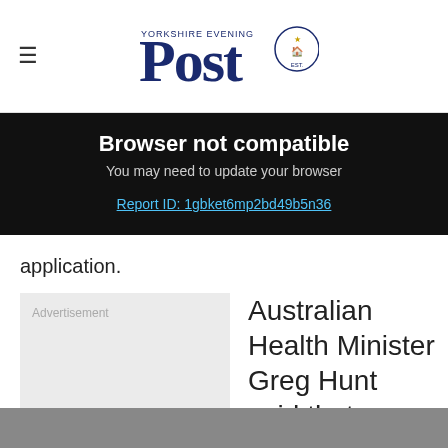Yorkshire Evening Post
Browser not compatible
You may need to update your browser
Report ID: 1gbket6mp2bd49b5n36
application.
Advertisement
Australian Health Minister Greg Hunt said that Djokovic was set to